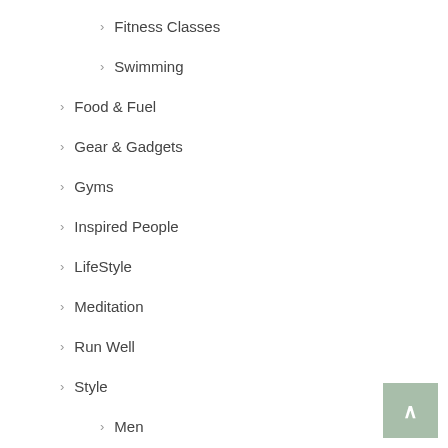Fitness Classes
Swimming
Food & Fuel
Gear & Gadgets
Gyms
Inspired People
LifeStyle
Meditation
Run Well
Style
Men
Woman